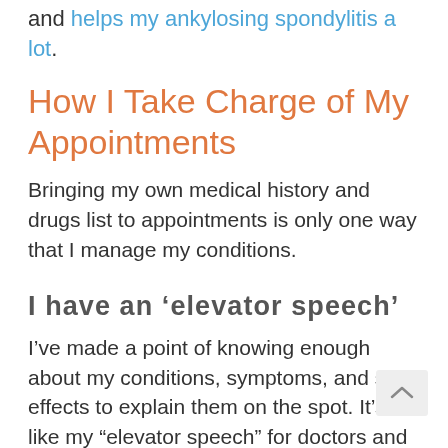and helps my ankylosing spondylitis a lot.
How I Take Charge of My Appointments
Bringing my own medical history and drugs list to appointments is only one way that I manage my conditions.
I have an ‘elevator speech’
I’ve made a point of knowing enough about my conditions, symptoms, and side effects to explain them on the spot. It’s like my “elevator speech” for doctors and others.
I bring a note-taking kit
I carry a small folder with a note pad and